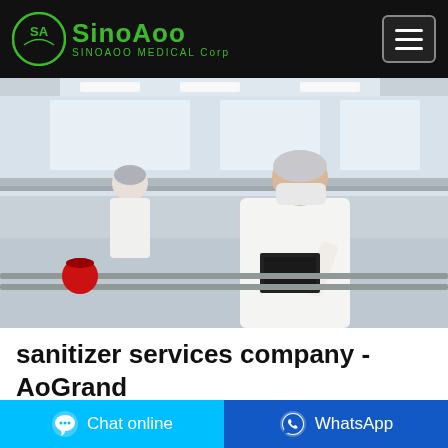SinoAoo SINOAOO MEDICAL Corp
[Figure (photo): Workers in white lab coats and hairnets/face masks working on a production line in a medical/pharmaceutical manufacturing facility. One worker in the foreground is reading a document on a conveyor cart.]
sanitizer services company - AoGrand
2020-11-28 · We are a hand sanitizer manufacturer, we provide CLEACE
Chat online | WhatsApp